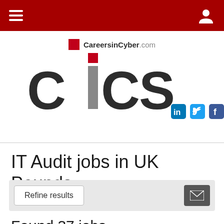Navigation bar with hamburger menu and user icon
[Figure (logo): CiCS logo — CareersinCyber.com wordmark above large CICS letters with red square dot on the i and grey bar, plus LinkedIn, Twitter, Facebook social icons]
IT Audit jobs in UK Pounds
Refine results [email alert button]
Found 37 jobs